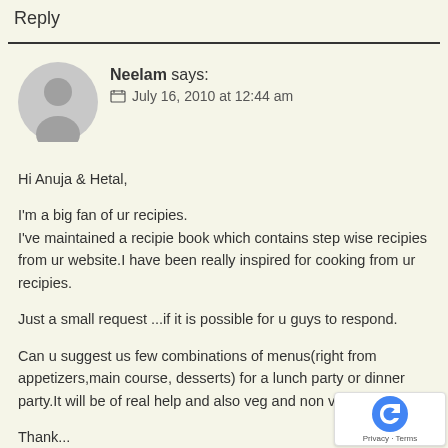Reply
Neelam says:
July 16, 2010 at 12:44 am

Hi Anuja & Hetal,

I'm a big fan of ur recipies.
I've maintained a recipie book which contains step wise recipies from ur website.I have been really inspired for cooking from ur recipies.

Just a small request ...if it is possible for u guys to respond.

Can u suggest us few combinations of menus(right from appetizers,main course, desserts) for a lunch party or dinner party.It will be of real help and also veg and non veg m separtely

Thank...